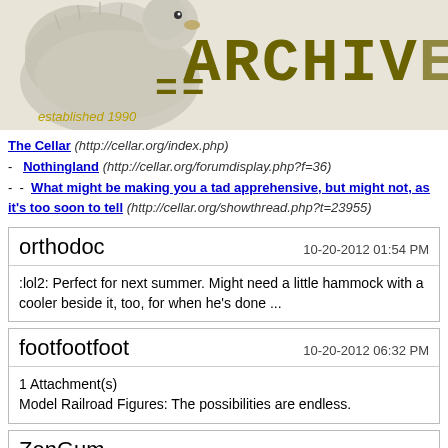[Figure (screenshot): Website banner for The Cellar archive with a duck/chick illustration, equals signs, and 'ARCHIV...' text in olive/dark yellow typewriter font. Bottom left shows 'established 1990' in italic gold text.]
The Cellar (http://cellar.org/index.php) - Nothingland (http://cellar.org/forumdisplay.php?f=36) - - What might be making you a tad apprehensive, but might not, as it's too soon to tell (http://cellar.org/showthread.php?t=23955)
| orthodoc | 10-20-2012 01:54 PM |
| :lol2: Perfect for next summer. Might need a little hammock with a cooler beside it, too, for when he's done ... |  |
| footfootfoot | 10-20-2012 06:32 PM |
| 1 Attachment(s)
Model Railroad Figures: The possibilities are endless. |  |
| ZenGum |  |